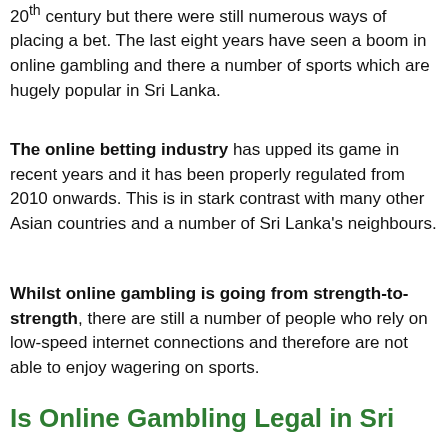20th century but there were still numerous ways of placing a bet. The last eight years have seen a boom in online gambling and there a number of sports which are hugely popular in Sri Lanka.
The online betting industry has upped its game in recent years and it has been properly regulated from 2010 onwards. This is in stark contrast with many other Asian countries and a number of Sri Lanka's neighbours.
Whilst online gambling is going from strength-to-strength, there are still a number of people who rely on low-speed internet connections and therefore are not able to enjoy wagering on sports.
Is Online Gambling Legal in Sri